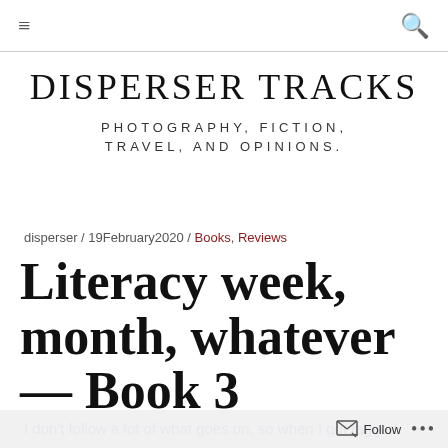≡  🔍
DISPERSER TRACKS
PHOTOGRAPHY, FICTION, TRAVEL, AND OPINIONS.
disperser / 19February2020 / Books, Reviews
Literacy week, month, whatever — Book 3
I don't follow a lot of what goes on, so when I got tagged
Follow  ...